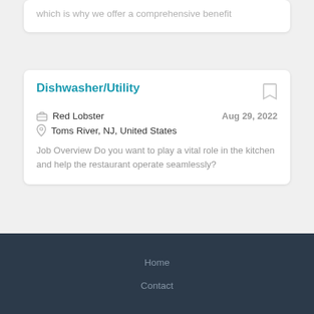which is why we offer a comprehensive benefit
Dishwasher/Utility
Red Lobster
Aug 29, 2022
Toms River, NJ, United States
Job Overview Do you want to play a vital role in the kitchen and help the restaurant operate seamlessly?
Load more
Home
Contact